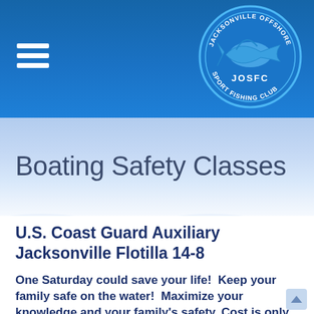Jacksonville Offshore Sport Fishing Club — navigation header with logo
Boating Safety Classes
U.S. Coast Guard Auxiliary Jacksonville Flotilla 14-8
One Saturday could save your life!  Keep your family safe on the water!  Maximize your knowledge and your family's safety. Cost is only $25. A second family member may attend for $5 if you can share a book.